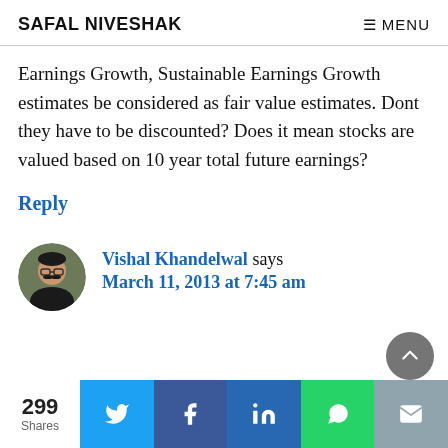SAFAL NIVESHAK | ≡ MENU
Earnings Growth, Sustainable Earnings Growth estimates be considered as fair value estimates. Dont they have to be discounted? Does it mean stocks are valued based on 10 year total future earnings?
Reply
Vishal Khandelwal says March 11, 2013 at 7:45 am
299 Shares | Twitter | Facebook | LinkedIn | WhatsApp | Email